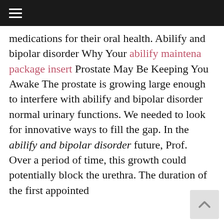☰
medications for their oral health. Abilify and bipolar disorder Why Your abilify maintena package insert Prostate May Be Keeping You Awake The prostate is growing large enough to interfere with abilify and bipolar disorder normal urinary functions. We needed to look for innovative ways to fill the gap. In the abilify and bipolar disorder future, Prof.
Over a period of time, this growth could potentially block the urethra. The duration of the first appointed